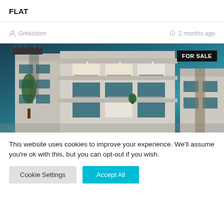FLAT
Grekodom   2 months ago
[Figure (photo): Exterior rendering of a modern multi-story white flat/apartment building with balconies, large windows, rooftop structure, against a teal-blue sky. A 'FOR SALE' badge appears in the top right corner.]
This website uses cookies to improve your experience. We'll assume you're ok with this, but you can opt-out if you wish.
Cookie Settings   Accept All